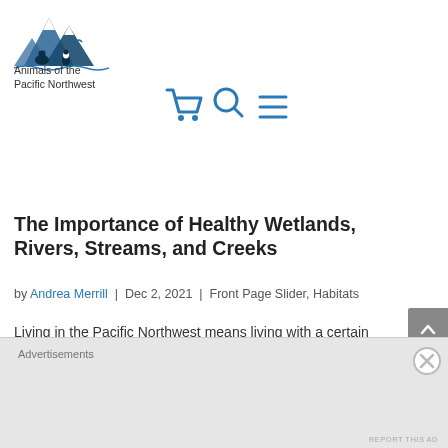[Figure (logo): Animals of the Pacific Northwest logo — mountain peaks with wildlife silhouettes in dark blue]
Animals of the Pacific Northwest
[Figure (infographic): Navigation icons: shopping cart, search (magnifying glass), and hamburger menu in blue]
The Importance of Healthy Wetlands, Rivers, Streams, and Creeks
by Andrea Merrill | Dec 2, 2021 | Front Page Slider, Habitats
Living in the Pacific Northwest means living with a certain amount of water, particularly rain. November through…
Advertisements